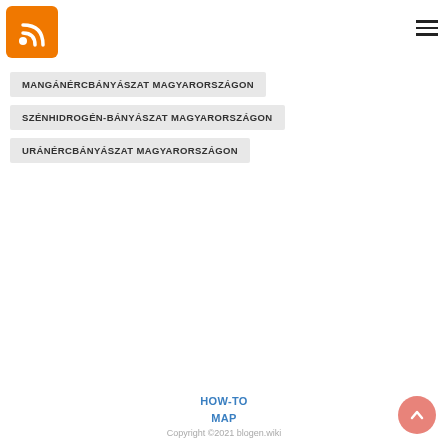[Figure (logo): Orange RSS feed logo icon with white RSS symbol on orange rounded square background]
[Figure (other): Hamburger menu icon with three horizontal lines]
MANGÁNÉRCBÁNYÁSZAT MAGYARORSZÁGON
SZÉNHIDROGÉN-BÁNYÁSZAT MAGYARORSZÁGON
URÁNÉRCBÁNYÁSZAT MAGYARORSZÁGON
HOW-TO
MAP
Copyright ©2021 blogen.wiki